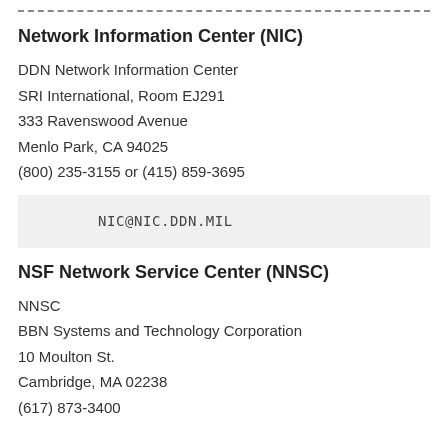------------------------------------------------------------------------
Network Information Center (NIC)
DDN Network Information Center
SRI International, Room EJ291
333 Ravenswood Avenue
Menlo Park, CA 94025
(800) 235-3155 or (415) 859-3695
NIC@NIC.DDN.MIL
NSF Network Service Center (NNSC)
NNSC
BBN Systems and Technology Corporation
10 Moulton St.
Cambridge, MA 02238
(617) 873-3400